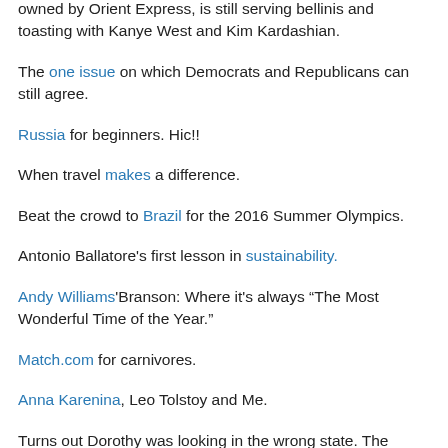owned by Orient Express, is still serving bellinis and toasting with Kanye West and Kim Kardashian.
The one issue on which Democrats and Republicans can still agree.
Russia for beginners. Hic!!
When travel makes a difference.
Beat the crowd to Brazil for the 2016 Summer Olympics.
Antonio Ballatore's first lesson in sustainability.
Andy Williams'Branson: Where it's always “The Most Wonderful Time of the Year.”
Match.com for carnivores.
Anna Karenina, Leo Tolstoy and Me.
Turns out Dorothy was looking in the wrong state. The rainbows are in Omaha, Nebraska.
Celebrate United Nations Day (October 24) at the UN’s alternative location in the Black Hills.